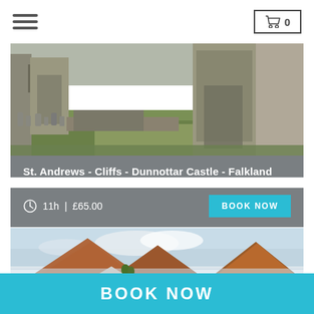☰  🛒 0
[Figure (photo): Stone ruins of a castle or abbey with gravestones in the foreground and green grass, semi-monochrome tone]
St. Andrews - Cliffs - Dunnottar Castle - Falkland
11h | £65.00
[Figure (photo): Scottish Highland mountain landscape with dramatic peaks, mist, green fields and a white cottage]
BOOK NOW